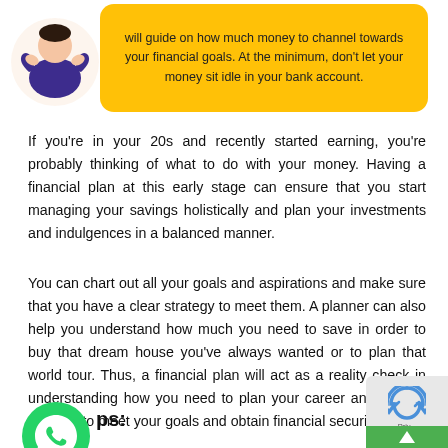[Figure (infographic): Yellow speech bubble callout with text about financial planning, and a person illustration on the left]
If you're in your 20s and recently started earning, you're probably thinking of what to do with your money. Having a financial plan at this early stage can ensure that you start managing your savings holistically and plan your investments and indulgences in a balanced manner.
You can chart out all your goals and aspirations and make sure that you have a clear strategy to meet them. A planner can also help you understand how much you need to save in order to buy that dream house you've always wanted or to plan that world tour. Thus, a financial plan will act as a reality check in understanding how you need to plan your career and income streams to meet your goals and obtain financial security!
[Figure (logo): WhatsApp button (green circle with phone icon) and partial bold text label, plus a privacy/reCAPTCHA badge in bottom right corner]